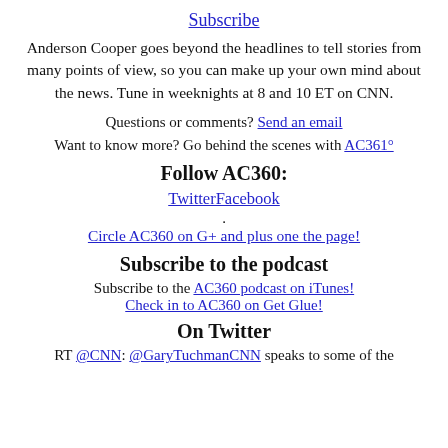Subscribe
Anderson Cooper goes beyond the headlines to tell stories from many points of view, so you can make up your own mind about the news. Tune in weeknights at 8 and 10 ET on CNN.
Questions or comments? Send an email
Want to know more? Go behind the scenes with AC361°
Follow AC360:
TwitterFacebook
.
Circle AC360 on G+ and plus one the page!
Subscribe to the podcast
Subscribe to the AC360 podcast on iTunes! Check in to AC360 on Get Glue!
On Twitter
RT @CNN: .@GaryTuchmanCNN speaks to some of the